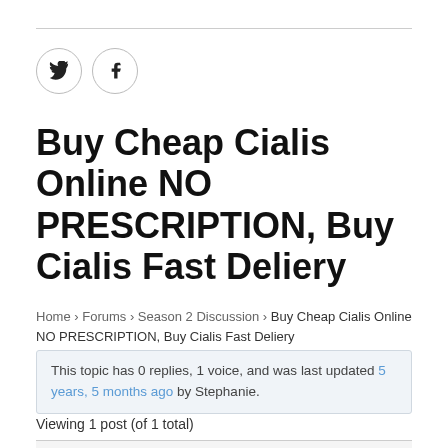[Figure (illustration): Social share buttons: Twitter (bird icon) and Facebook (f icon), both circular with border]
Buy Cheap Cialis Online NO PRESCRIPTION, Buy Cialis Fast Deliery
Home › Forums › Season 2 Discussion › Buy Cheap Cialis Online NO PRESCRIPTION, Buy Cialis Fast Deliery
This topic has 0 replies, 1 voice, and was last updated 5 years, 5 months ago by Stephanie.
Viewing 1 post (of 1 total)
| Author | Posts |
| --- | --- |